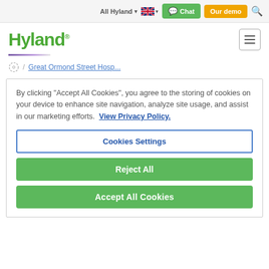All Hyland  [flag] Chat  Our demo  [search]
Hyland
Great Ormond Street Hosp...
By clicking "Accept All Cookies", you agree to the storing of cookies on your device to enhance site navigation, analyze site usage, and assist in our marketing efforts.  View Privacy Policy.
Cookies Settings
Reject All
Accept All Cookies